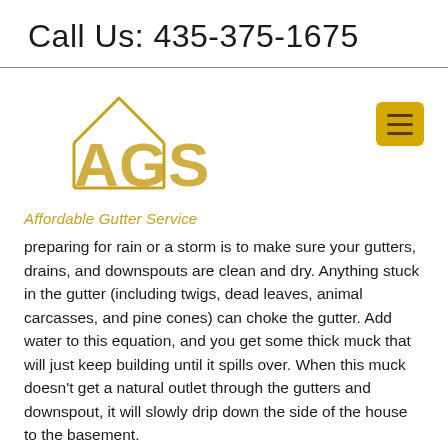Call Us: 435-375-1675
[Figure (logo): AGS Affordable Gutter Service logo with gold house/triangle outline and large AGS letters]
preparing for rain or a storm is to make sure your gutters, drains, and downspouts are clean and dry. Anything stuck in the gutter (including twigs, dead leaves, animal carcasses, and pine cones) can choke the gutter. Add water to this equation, and you get some thick muck that will just keep building until it spills over. When this muck doesn't get a natural outlet through the gutters and downspout, it will slowly drip down the side of the house to the basement.